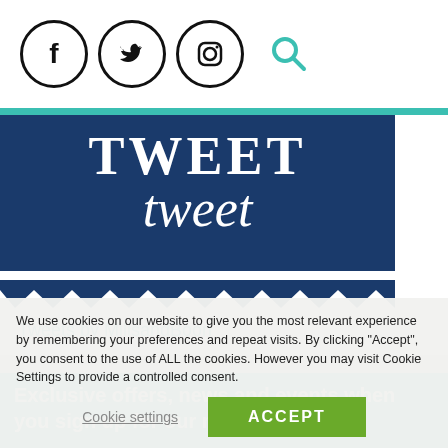Social media icons: Facebook, Twitter, Instagram, Search
[Figure (illustration): Dark navy blue banner with zigzag bottom edge showing 'TWEET tweet' text in white serif/script fonts]
Tweets by MillsandBoon
Exclusive offers, news and events when you sign up for our newsletter
We use cookies on our website to give you the most relevant experience by remembering your preferences and repeat visits. By clicking "Accept", you consent to the use of ALL the cookies. However you may visit Cookie Settings to provide a controlled consent.
Cookie settings
ACCEPT